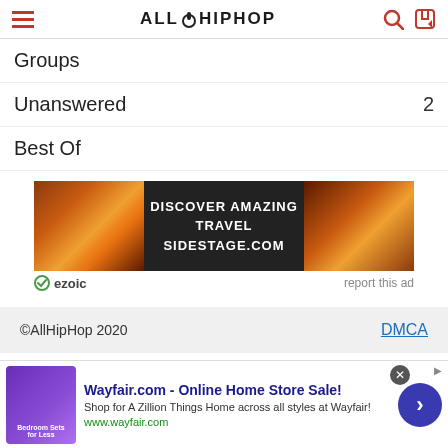AllHipHop
Groups
Unanswered  2
Best Of
[Figure (infographic): Advertisement banner: DISCOVER AMAZING TRAVEL SIDESTAGE.COM with ezoic label and 'report this ad' link]
©AllHipHop 2020  DMCA
[Figure (infographic): Bottom advertisement: Wayfair.com - Online Home Store Sale! Shop for A Zillion Things Home across all styles at Wayfair! www.wayfair.com]